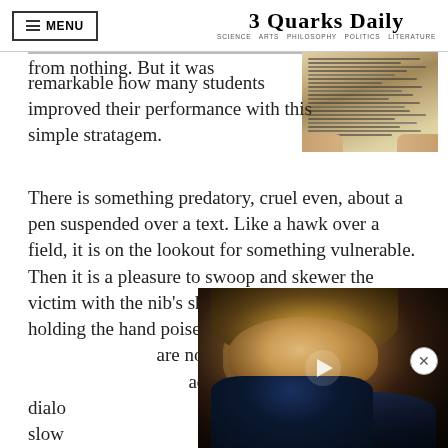MENU | 3 Quarks Daily — SCIENCE ARTS PHILOSOPHY POLITICS LITERATURE
A pen is not a magic wand. The
from nothing. But it was remarkable how many students improved their performance with this simple stratagem.
[Figure (photo): A person holding open an old handwritten manuscript or notebook with dense handwriting on both pages]
There is something predatory, cruel even, about a pen suspended over a text. Like a hawk over a field, it is on the lookout for something vulnerable. Then it is a pleasure to swoop and skewer the victim with the nib's sharp point. The mere fact of holding the hand poised for action changes ou... are no longer passive consum... active participants in a dialo... report that their reading slow... pen in their hand, but at the s...
[Figure (photo): Video overlay showing a man (Donald Trump) in a dark suit with a red tie, on a dark background, with a play button in the center]